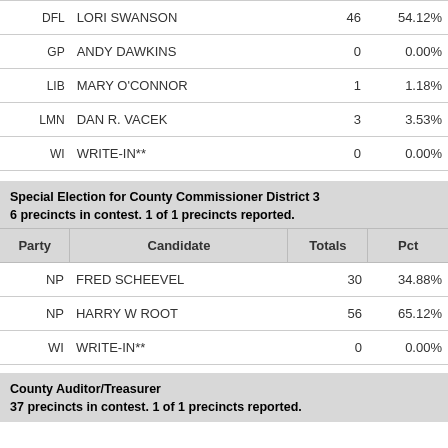| Party | Candidate | Totals | Pct |
| --- | --- | --- | --- |
| DFL | LORI SWANSON | 46 | 54.12% |
| GP | ANDY DAWKINS | 0 | 0.00% |
| LIB | MARY O'CONNOR | 1 | 1.18% |
| LMN | DAN R. VACEK | 3 | 3.53% |
| WI | WRITE-IN** | 0 | 0.00% |
Special Election for County Commissioner District 3
6 precincts in contest. 1 of 1 precincts reported.
| Party | Candidate | Totals | Pct |
| --- | --- | --- | --- |
| NP | FRED SCHEEVEL | 30 | 34.88% |
| NP | HARRY W ROOT | 56 | 65.12% |
| WI | WRITE-IN** | 0 | 0.00% |
County Auditor/Treasurer
37 precincts in contest. 1 of 1 precincts reported.